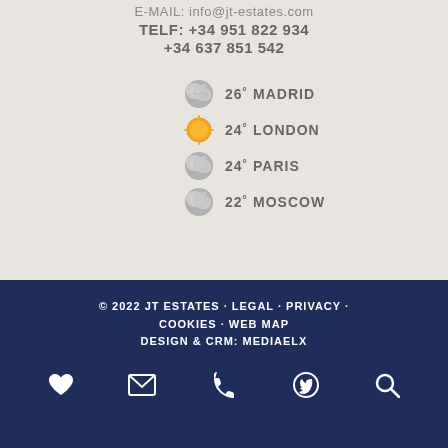E-MAIL: info@jt-estates.com
TELF: +34 951 822 934
+34 637 851 542
26° MADRID
24° LONDON
24° PARIS
22° MOSCOW
© 2022 JT ESTATES · LEGAL · PRIVACY · COOKIES · WEB MAP
DESIGN & CRM: MEDIAELX